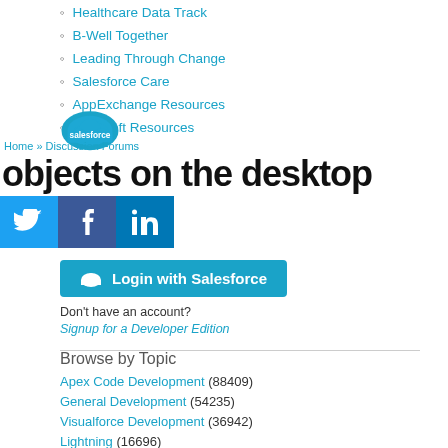Healthcare Data Track
B-Well Together
Leading Through Change
Salesforce Care
AppExchange Resources
MuleSoft Resources
[Figure (logo): Salesforce cloud logo in teal/blue]
[Figure (screenshot): Overlapping text banner reading 'objects on the desktop' in large bold font, with 'Home > Discussion Forums' nav link above, and social media icons (Twitter, Facebook, LinkedIn) below]
Login with Salesforce
Don't have an account?
Signup for a Developer Edition
Browse by Topic
Apex Code Development (88409)
General Development (54235)
Visualforce Development (36942)
Lightning (16696)
APIs and Integration (16300)
Trailhead (11464)
Formulas & Validation Rules Discussion (10889)